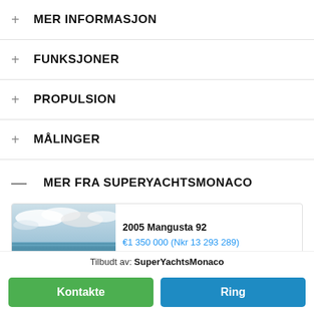+ MER INFORMASJON
+ FUNKSJONER
+ PROPULSION
+ MÅLINGER
— MER FRA SUPERYACHTSMONACO
[Figure (photo): Yacht listing thumbnail showing sea and sky]
2005 Mangusta 92
€1 350 000 (Nkr 13 293 289)
Tilbudt av: SuperYachtsMonaco
Kontakte
Ring